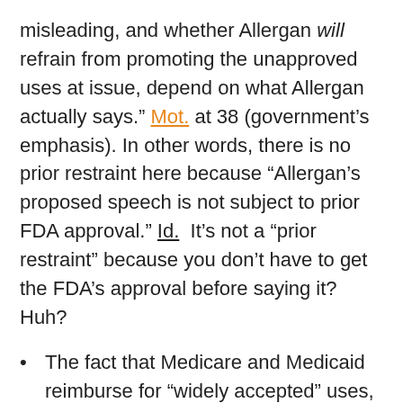misleading, and whether Allergan will refrain from promoting the unapproved uses at issue, depend on what Allergan actually says." Mot. at 38 (government's emphasis). In other words, there is no prior restraint here because "Allergan's proposed speech is not subject to prior FDA approval." Id.  It's not a "prior restraint" because you don't have to get the FDA's approval before saying it?  Huh?
The fact that Medicare and Medicaid reimburse for "widely accepted" uses, including uses unapproved by the FDA, is of no moment, because "[a] drug reimbursement mistake costs money. A drug approval mistake can cost lives." Mot. at 42.  When you don't have the